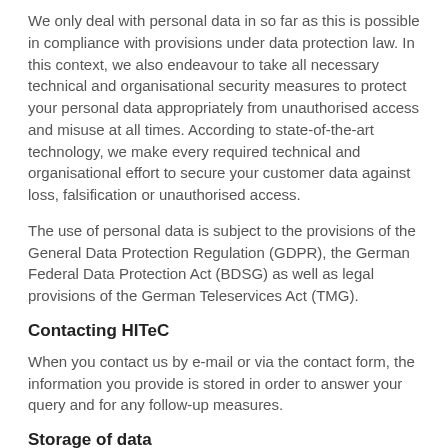We only deal with personal data in so far as this is possible in compliance with provisions under data protection law. In this context, we also endeavour to take all necessary technical and organisational security measures to protect your personal data appropriately from unauthorised access and misuse at all times. According to state-of-the-art technology, we make every required technical and organisational effort to secure your customer data against loss, falsification or unauthorised access.
The use of personal data is subject to the provisions of the General Data Protection Regulation (GDPR), the German Federal Data Protection Act (BDSG) as well as legal provisions of the German Teleservices Act (TMG).
Contacting HITeC
When you contact us by e-mail or via the contact form, the information you provide is stored in order to answer your query and for any follow-up measures.
Storage of data